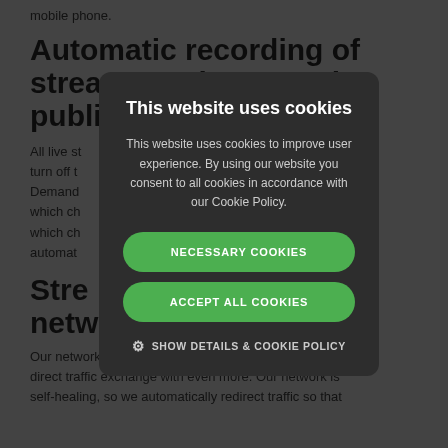mobile phone.
Automatic recording of streams and automatic publishing
All live streams are automatically recorded and you can turn off the recording in our Video On Demand panel. You can choose which channels to record, at which times and in which channel groups, set recordings to stored and automatically published.
Streaming network
Our network uses several of the best operators and direct traffic exchange with even more. Our network is self-healing, so we automatically redirect traffic so that
[Figure (screenshot): Cookie consent modal dialog with dark background overlay. Title: 'This website uses cookies'. Body text: 'This website uses cookies to improve user experience. By using our website you consent to all cookies in accordance with our Cookie Policy.' Two green pill-shaped buttons: 'NECESSARY COOKIES' and 'ACCEPT ALL COOKIES'. A gear icon followed by 'SHOW DETAILS & COOKIE POLICY' text link.]